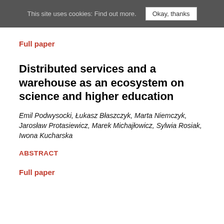This site uses cookies: Find out more. Okay, thanks
Full paper
Distributed services and a warehouse as an ecosystem on science and higher education
Emil Podwysocki, Łukasz Błaszczyk, Marta Niemczyk, Jarosław Protasiewicz, Marek Michajłowicz, Sylwia Rosiak, Iwona Kucharska
ABSTRACT
Full paper